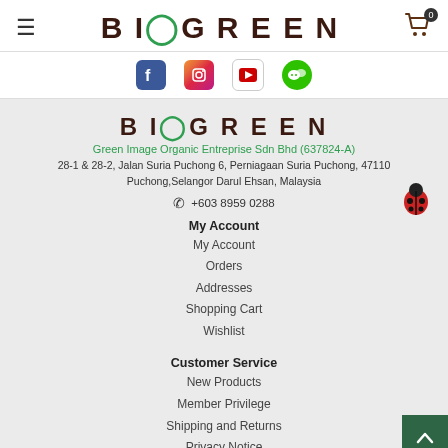BIOGREEN (logo, hamburger menu, cart icon with 0)
[Figure (logo): Social media icons: Facebook, Instagram, YouTube, WeChat]
[Figure (logo): BIOGREEN logo - text logo with green O]
Green Image Organic Entreprise Sdn Bhd (637824-A)
28-1 & 28-2, Jalan Suria Puchong 6, Perniagaan Suria Puchong, 47110 Puchong,Selangor Darul Ehsan, Malaysia
+603 8959 0288
My Account
My Account
Orders
Addresses
Shopping Cart
Wishlist
Customer Service
New Products
Member Privilege
Shipping and Returns
Privacy Notice